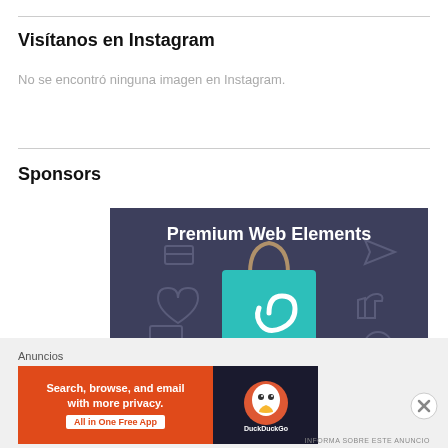Visítanos en Instagram
No se encontró ninguna imagen en Instagram.
Sponsors
[Figure (illustration): Advertisement banner: dark blue/purple background with web design icons, teal shopping bag with white swirl logo, text 'Premium Web Elements']
Anuncios
[Figure (screenshot): DuckDuckGo ad banner: orange left side with text 'Search, browse, and email with more privacy. All in One Free App', dark right side with DuckDuckGo logo]
INFORMA SOBRE ESTE ANUNCIO